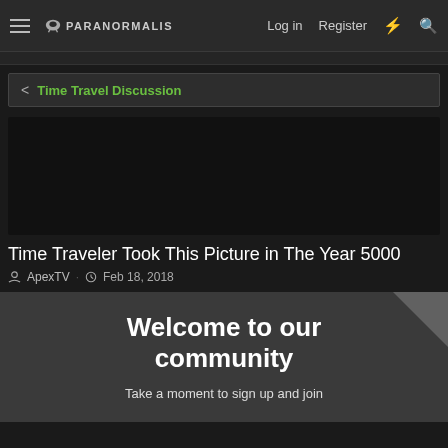Paranormalis — Log in | Register
Time Travel Discussion
Time Traveler Took This Picture in The Year 5000
ApexTV · Feb 18, 2018
[Figure (screenshot): Welcome to our community — community registration prompt box]
Take a moment to sign up and join